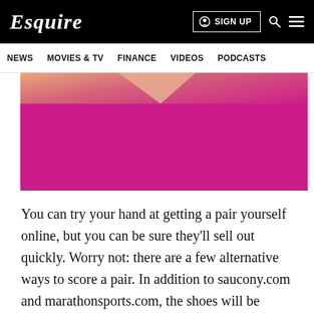Esquire | SIGN UP
NEWS   MOVIES & TV   FINANCE   VIDEOS   PODCASTS
[Figure (photo): Partial image with magenta/pink background and a small triangular object visible at top, likely a shoe or product photo]
You can try your hand at getting a pair yourself online, but you can be sure they'll sell out quickly. Worry not: there are a few alternative ways to score a pair. In addition to saucony.com and marathonsports.com, the shoes will be available for purchase in-store at Marathon Sports in Boston, Brookline, Cambridge, and Wellesley. They'll also be available April 12 to 14 at the John Hancock Sports & Fitness Expo. Saucony is holding